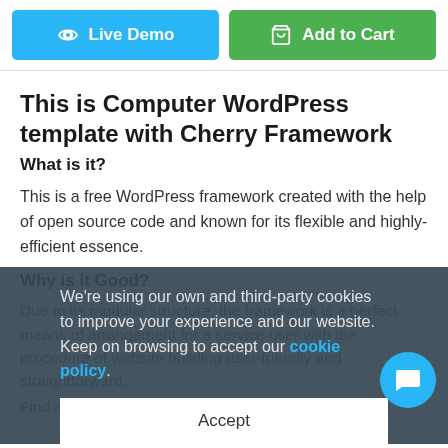[Figure (other): Two buttons: blue 'Live Demo' and green 'Add to Cart']
This is Computer WordPress template with Cherry Framework
What is it?
This is a free WordPress framework created with the help of open source code and known for its flexible and highly-efficient essence.
Why is it Good?
Due to its modular structure, the framework is a perfect means of arrangement for a service user with the procedure of website building user-friendly and straightforward.
Find more Cherry Framework WP templates
We're using our own and third-party cookies to improve your experience and our website. Keep on browsing to accept our cookie policy.
Accept